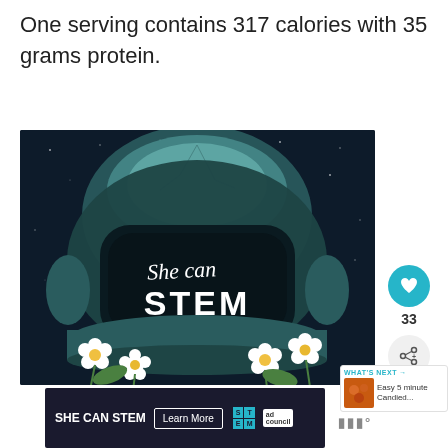One serving contains 317 calories with 35 grams protein.
[Figure (illustration): Astronaut helmet illustration with 'She can STEM' text inside the visor, decorated with white daisy flowers at the bottom, on a dark navy background. Teal and white color scheme.]
[Figure (infographic): Heart/like button (teal circle) with count 33, and a share button below it.]
[Figure (infographic): What's Next panel with thumbnail image of candied food and text 'Easy 5 minute Candied...']
[Figure (infographic): She Can STEM advertisement banner with 'SHE CAN STEM' text, 'Learn More' button, STEM logo grid, and Ad Council logo.]